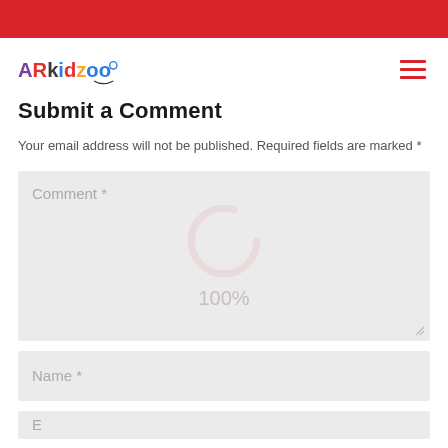ARkidzoo
Submit a Comment
Your email address will not be published. Required fields are marked *
[Figure (screenshot): Comment form textarea with loading spinner showing 100% and resize handle]
[Figure (screenshot): Name input field with placeholder text 'Name *']
[Figure (screenshot): Email input field partially visible with placeholder text]